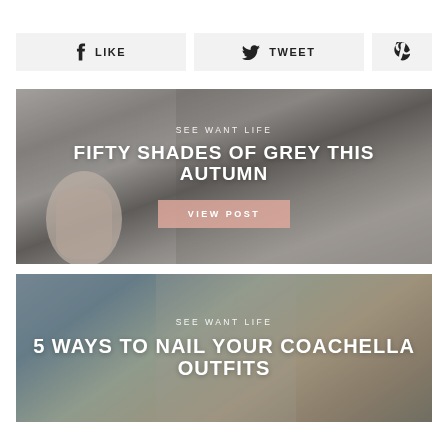[Figure (other): Social sharing buttons: LIKE (Facebook), TWEET (Twitter), Pinterest icon]
[Figure (photo): Fashion blog card with grey autumn outfit photo showing shoes and coffee cup, overlaid with text SEE WANT LIFE, FIFTY SHADES OF GREY THIS AUTUMN, and VIEW POST button]
[Figure (photo): Fashion blog card with Coachella outfit photo showing fringe jacket, overlaid with text SEE WANT LIFE and 5 WAYS TO NAIL YOUR COACHELLA OUTFITS]